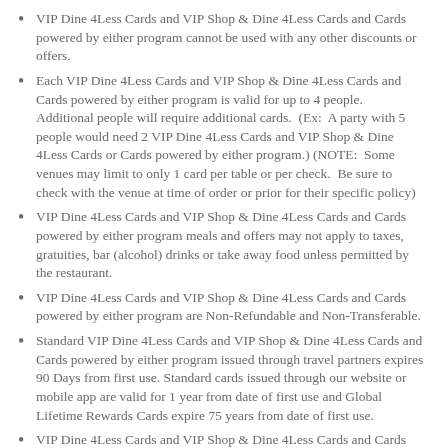VIP Dine 4Less Cards and VIP Shop & Dine 4Less Cards and Cards powered by either program cannot be used with any other discounts or offers.
Each VIP Dine 4Less Cards and VIP Shop & Dine 4Less Cards and Cards powered by either program is valid for up to 4 people.  Additional people will require additional cards.  (Ex:  A party with 5 people would need 2 VIP Dine 4Less Cards and VIP Shop & Dine 4Less Cards or Cards powered by either program.) (NOTE:  Some venues may limit to only 1 card per table or per check.  Be sure to check with the venue at time of order or prior for their specific policy)
VIP Dine 4Less Cards and VIP Shop & Dine 4Less Cards and Cards powered by either program meals and offers may not apply to taxes, gratuities, bar (alcohol) drinks or take away food unless permitted by the restaurant.
VIP Dine 4Less Cards and VIP Shop & Dine 4Less Cards and Cards powered by either program are Non-Refundable and Non-Transferable.
Standard VIP Dine 4Less Cards and VIP Shop & Dine 4Less Cards and Cards powered by either program issued through travel partners expires 90 Days from first use. Standard cards issued through our website or mobile app are valid for 1 year from date of first use and Global Lifetime Rewards Cards expire 75 years from date of first use.
VIP Dine 4Less Cards and VIP Shop & Dine 4Less Cards and Cards powered by either program is not valid until